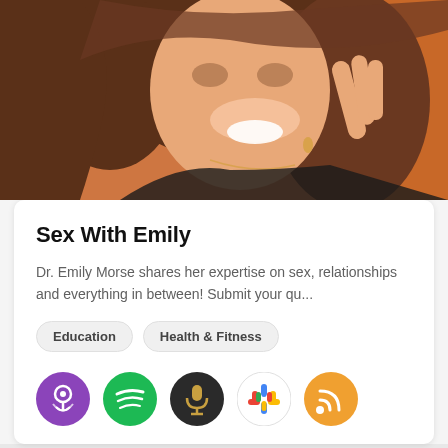[Figure (photo): Close-up photo of a smiling woman with long brown hair, touching her face, wearing a black top, on an orange-brown background]
Sex With Emily
Dr. Emily Morse shares her expertise on sex, relationships and everything in between! Submit your qu...
Education
Health & Fitness
[Figure (logo): Row of podcast platform icons: Apple Podcasts (purple), Spotify (green), Stitcher/microphone (dark), Google Podcasts (colorful dots), RSS (orange)]
[Figure (illustration): Bottom purple banner with cursive italic text 'the inner...']